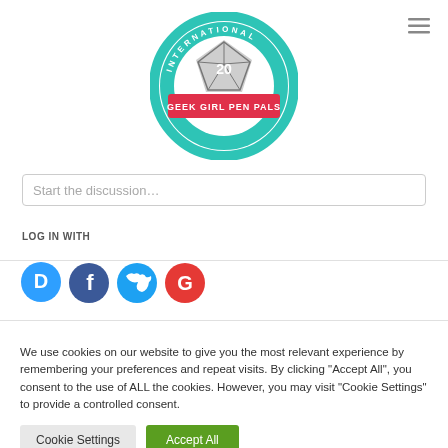[Figure (logo): International Geek Girl Pen Pals Club circular logo with teal border and red banner reading GEEK GIRL PEN PALS]
[Figure (screenshot): Hamburger menu icon (three horizontal lines)]
Start the discussion…
LOG IN WITH
[Figure (illustration): Social login icons: Disqus (D, blue chat bubble), Facebook (f, dark blue circle), Twitter (bird, light blue circle), Google (G, red circle)]
We use cookies on our website to give you the most relevant experience by remembering your preferences and repeat visits. By clicking "Accept All", you consent to the use of ALL the cookies. However, you may visit "Cookie Settings" to provide a controlled consent.
Cookie Settings
Accept All